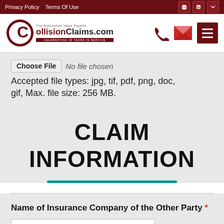Privacy Policy  Terms Of Use
[Figure (logo): CollisionClaims.com logo with red C icon and ribbon celebrating 18 years of service]
Choose File  No file chosen
Accepted file types: jpg, tif, pdf, png, doc, gif, Max. file size: 256 MB.
CLAIM INFORMATION
Name of Insurance Company of the Other Party *
(If unknown, enter "unknown")